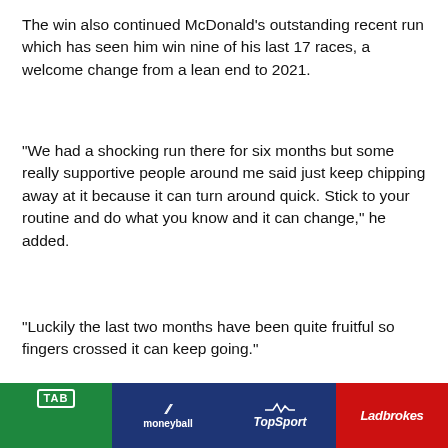The win also continued McDonald's outstanding recent run which has seen him win nine of his last 17 races, a welcome change from a lean end to 2021.
“We had a shocking run there for six months but some really supportive people around me said just keep chipping away at it because it can turn around quick. Stick to your routine and do what you know and it can change,” he added.
“Luckily the last two months have been quite fruitful so fingers crossed it can keep going.”
[Figure (infographic): Four betting advertiser logos and promotional banners: TAB (green, 'JOIN TAB NOW', 'DOWNLOAD THE APP TODAY', 'Recommended'), Moneyball (dark blue, 'GET IN THE RACE', 'DOWNLOAD THE MONEYBALL...', 'Featured'), TopSport (dark blue, 'HIGH LIMITS!', 'DOWNLOAD THE TOPSPORT APP TODAY'), Ladbrokes (red, 'JOIN TODAY', 'RACING PROMOS!')]